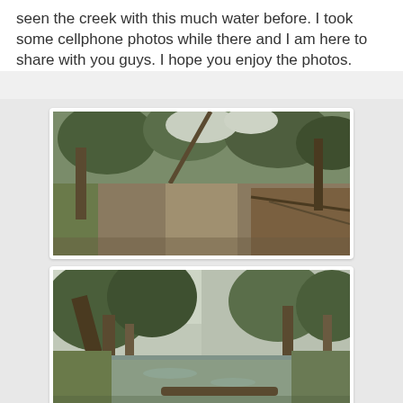seen the creek with this much water before. I took some cellphone photos while there and I am here to share with you guys. I hope you enjoy the photos.
[Figure (photo): Photo of a dry creek bed pathway surrounded by eucalyptus trees and vegetation, with fallen branches visible on the right side.]
[Figure (photo): Photo of the same creek now filled with flowing muddy water, with eucalyptus trees lining the banks and a fallen log visible.]